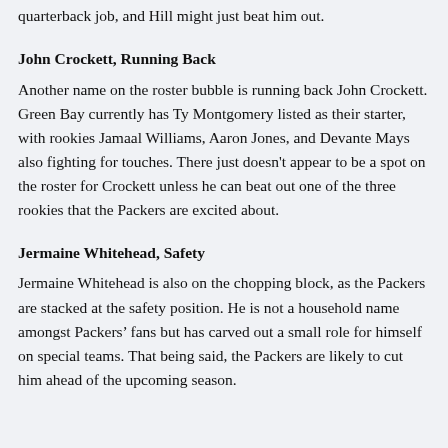quarterback job, and Hill might just beat him out.
John Crockett, Running Back
Another name on the roster bubble is running back John Crockett. Green Bay currently has Ty Montgomery listed as their starter, with rookies Jamaal Williams, Aaron Jones, and Devante Mays also fighting for touches. There just doesn't appear to be a spot on the roster for Crockett unless he can beat out one of the three rookies that the Packers are excited about.
Jermaine Whitehead, Safety
Jermaine Whitehead is also on the chopping block, as the Packers are stacked at the safety position. He is not a household name amongst Packers' fans but has carved out a small role for himself on special teams. That being said, the Packers are likely to cut him ahead of the upcoming season.